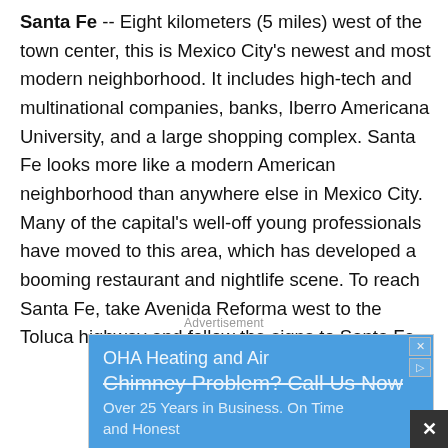Santa Fe -- Eight kilometers (5 miles) west of the town center, this is Mexico City's newest and most modern neighborhood. It includes high-tech and multinational companies, banks, Iberro Americana University, and a large shopping complex. Santa Fe looks more like a modern American neighborhood than anywhere else in Mexico City. Many of the capital's well-off young professionals have moved to this area, which has developed a booming restaurant and nightlife scene. To reach Santa Fe, take Avenida Reforma west to the Toluca highway and follow the signs to Santa Fe.
Advertisement
[Figure (other): Advertisement banner for OHA Heating and Air with blue background. Text reads: 'OHA Heating and Air', 'Chimney Problem? Call Us Now', 'Over 25 Years in Business. On Time and Honest']